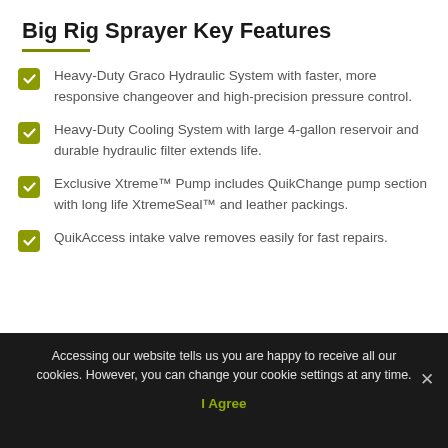Big Rig Sprayer Key Features
Heavy-Duty Graco Hydraulic System with faster, more responsive changeover and high-precision pressure control.
Heavy-Duty Cooling System with large 4-gallon reservoir and durable hydraulic filter extends life.
Exclusive Xtreme™ Pump includes QuikChange pump section with long life XtremeSeal™ and leather packings.
QuikAccess intake valve removes easily for fast repairs.
Accessing our website tells us you are happy to receive all our cookies. However, you can change your cookie settings at any time.
I Agree